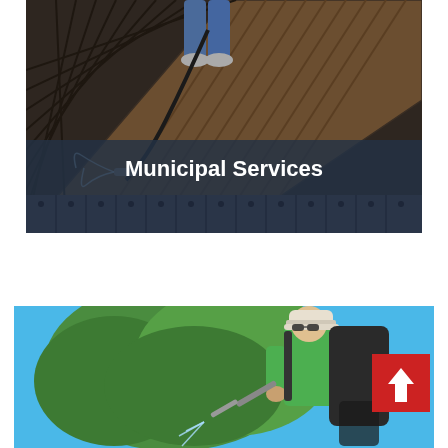[Figure (photo): Person pressure washing a wooden deck. The deck boards show contrast between cleaned and dirty wood. Blue-grey metal paneling visible at the bottom of the image. Text overlay 'Municipal Services' on a dark semi-transparent banner.]
Municipal Services
[Figure (photo): Man in green shirt and white cap using a sprayer/backpack equipment, working outdoors with trees and blue sky in background. A red button with an upward arrow is overlaid at the top-right corner of the image.]